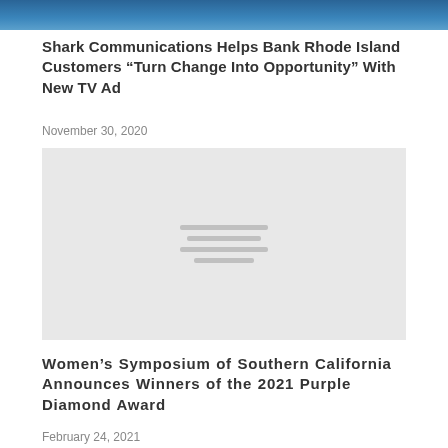[Figure (photo): Top portion of a photo with blue tones, partially cropped at the top of the page]
Shark Communications Helps Bank Rhode Island Customers “Turn Change Into Opportunity” With New TV Ad
November 30, 2020
[Figure (photo): Gray placeholder image with horizontal lines indicating a loading or missing image]
Women’s Symposium of Southern California Announces Winners of the 2021 Purple Diamond Award
February 24, 2021